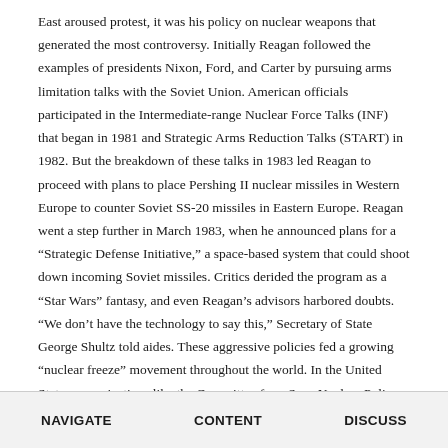East aroused protest, it was his policy on nuclear weapons that generated the most controversy. Initially Reagan followed the examples of presidents Nixon, Ford, and Carter by pursuing arms limitation talks with the Soviet Union. American officials participated in the Intermediate-range Nuclear Force Talks (INF) that began in 1981 and Strategic Arms Reduction Talks (START) in 1982. But the breakdown of these talks in 1983 led Reagan to proceed with plans to place Pershing II nuclear missiles in Western Europe to counter Soviet SS-20 missiles in Eastern Europe. Reagan went a step further in March 1983, when he announced plans for a “Strategic Defense Initiative,” a space-based system that could shoot down incoming Soviet missiles. Critics derided the program as a “Star Wars” fantasy, and even Reagan’s advisors harbored doubts. “We don’t have the technology to say this,” Secretary of State George Shultz told aides. These aggressive policies fed a growing “nuclear freeze” movement throughout the world. In the United States, organizations like the Committee for a Sane Nuclear Policy organized protests that culminated in a June 1982 rally that drew almost a million people to New York City’s Central Park.
NAVIGATE    CONTENT    DISCUSS